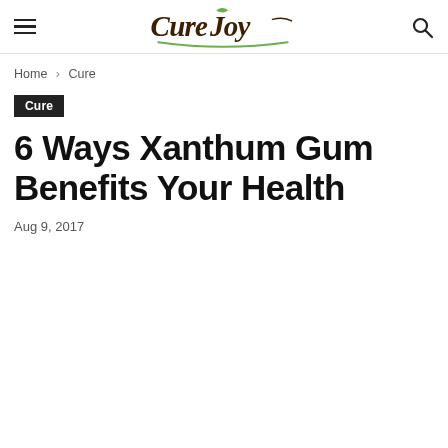CureJoy
Home › Cure
Cure
6 Ways Xanthum Gum Benefits Your Health
Aug 9, 2017